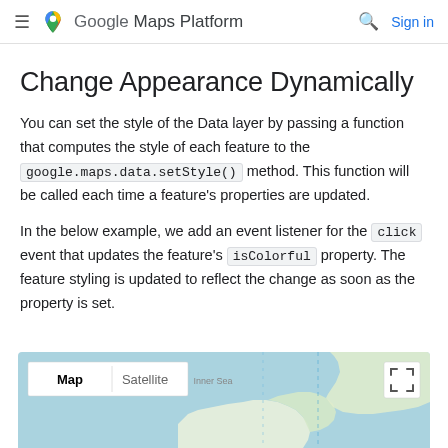Google Maps Platform  Sign in
Change Appearance Dynamically
You can set the style of the Data layer by passing a function that computes the style of each feature to the google.maps.data.setStyle() method. This function will be called each time a feature's properties are updated.
In the below example, we add an event listener for the click event that updates the feature's isColorful property. The feature styling is updated to reflect the change as soon as the property is set.
[Figure (screenshot): Google Maps embed showing Australia with Map/Satellite toggle and fullscreen button]